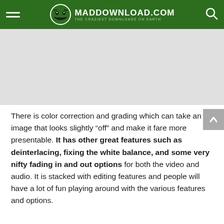MADDOWNLOAD.COM — THE CRAZIEST DOWNLOADS ON EARTH
[Figure (other): Gray advertisement/banner placeholder area]
There is color correction and grading which can take an image that looks slightly “off” and make it fare more presentable. It has other great features such as deinterlacing, fixing the white balance, and some very nifty fading in and out options for both the video and audio. It is stacked with editing features and people will have a lot of fun playing around with the various features and options.